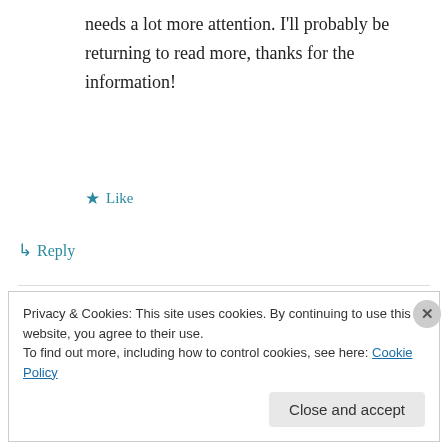needs a lot more attention. I'll probably be returning to read more, thanks for the information!
★ Like
↳ Reply
Microgaming on October 18, 2019 at 5:27 am
Your mode of telling all in this post is really fastidious, every one
Privacy & Cookies: This site uses cookies. By continuing to use this website, you agree to their use.
To find out more, including how to control cookies, see here: Cookie Policy
Close and accept